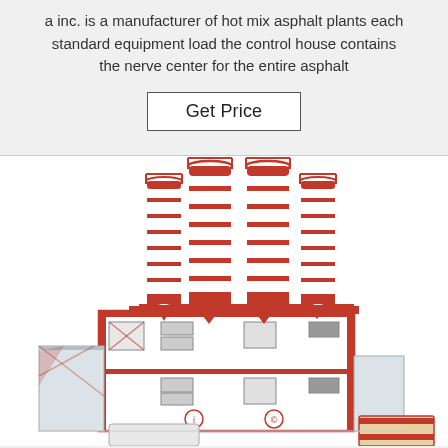a inc. is a manufacturer of hot mix asphalt plants each standard equipment load the control house contains the nerve center for the entire asphalt
[Figure (illustration): Industrial facility with multiple large red and white cylindrical silos mounted on top of a multi-story white building with red structural framing, windows, and industrial equipment visible at the bottom]